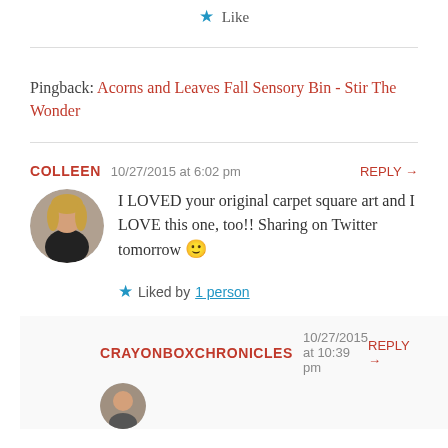★ Like
Pingback: Acorns and Leaves Fall Sensory Bin - Stir The Wonder
COLLEEN   10/27/2015 at 6:02 pm   REPLY →
I LOVED your original carpet square art and I LOVE this one, too!! Sharing on Twitter tomorrow 🙂
★ Liked by 1 person
CRAYONBOXCHRONICLES   10/27/2015 at 10:39 pm   REPLY →